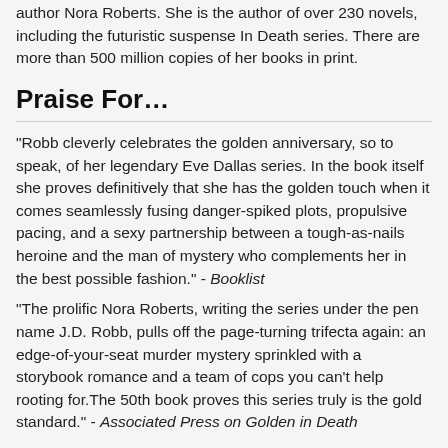author Nora Roberts. She is the author of over 230 novels, including the futuristic suspense In Death series. There are more than 500 million copies of her books in print.
Praise For…
"Robb cleverly celebrates the golden anniversary, so to speak, of her legendary Eve Dallas series. In the book itself she proves definitively that she has the golden touch when it comes seamlessly fusing danger-spiked plots, propulsive pacing, and a sexy partnership between a tough-as-nails heroine and the man of mystery who complements her in the best possible fashion." - Booklist
"The prolific Nora Roberts, writing the series under the pen name J.D. Robb, pulls off the page-turning trifecta again: an edge-of-your-seat murder mystery sprinkled with a storybook romance and a team of cops you can't help rooting for.The 50th book proves this series truly is the gold standard." - Associated Press on Golden in Death